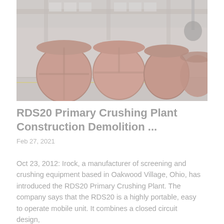[Figure (photo): Industrial factory interior showing large cylindrical metal drums or rollers lined up on a floor, with overhead crane structure visible, muted/faded color tone]
RDS20 Primary Crushing Plant Construction Demolition ...
Feb 27, 2021
Oct 23, 2012: Irock, a manufacturer of screening and crushing equipment based in Oakwood Village, Ohio, has introduced the RDS20 Primary Crushing Plant. The company says that the RDS20 is a highly portable, easy to operate mobile unit. It combines a closed circuit design,